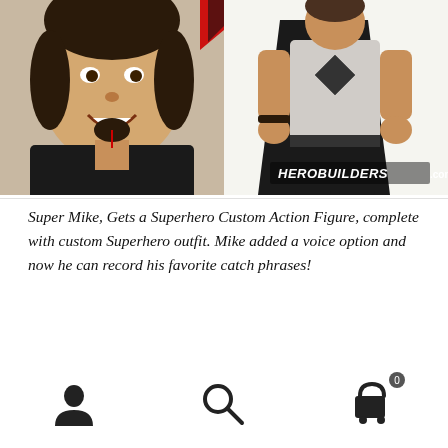[Figure (photo): Composite image: left side shows a smiling man with goatee wearing a black shirt, right side shows a superhero action figure in black and white costume with cape. HEROBUILDERS.COM watermark in lower right of image.]
Super Mike, Gets a Superhero Custom Action Figure, complete with custom Superhero outfit. Mike added a voice option and now he can record his favorite catch phrases!
Navigation bar with user, search, and cart (0) icons